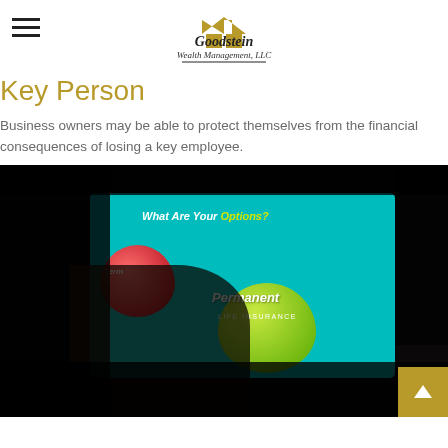Goodstein Wealth Management, LLC
Key Person
Business owners may be able to protect themselves from the financial consequences of losing a key employee.
[Figure (photo): A person's hand touching a tablet screen that displays two apple graphics (one red, one green) with text reading 'What Are Your Options?' and 'Permanent Life Insurance', shown in a dark setting.]